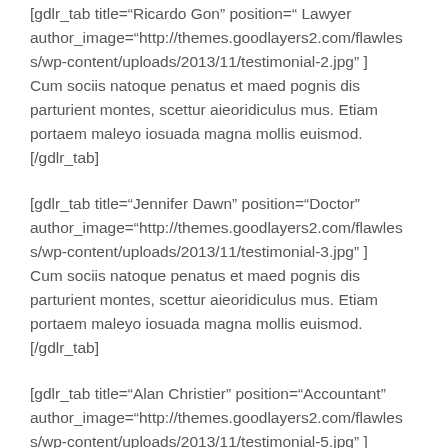[gdlr_tab title="Ricardo Gon" position="Lawyer author_image="http://themes.goodlayers2.com/flawles s/wp-content/uploads/2013/11/testimonial-2.jpg" ] Cum sociis natoque penatus et maed pognis dis parturient montes, scettur aieoridiculus mus. Etiam portaem maleyo iosuada magna mollis euismod. [/gdlr_tab]
[gdlr_tab title="Jennifer Dawn" position="Doctor" author_image="http://themes.goodlayers2.com/flawles s/wp-content/uploads/2013/11/testimonial-3.jpg" ] Cum sociis natoque penatus et maed pognis dis parturient montes, scettur aieoridiculus mus. Etiam portaem maleyo iosuada magna mollis euismod. [/gdlr_tab]
[gdlr_tab title="Alan Christier" position="Accountant" author_image="http://themes.goodlayers2.com/flawles s/wp-content/uploads/2013/11/testimonial-5.jpg" ]